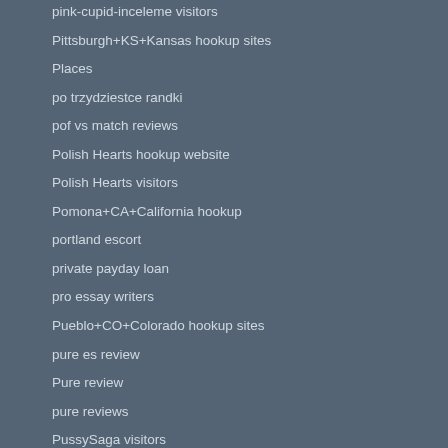pink-cupid-inceleme visitors
Pittsburgh+KS+Kansas hookup sites
Places
po trzydziestce randki
pof vs match reviews
Polish Hearts hookup website
Polish Hearts visitors
Pomona+CA+California hookup
portland escort
private payday loan
pro essay writers
Pueblo+CO+Colorado hookup sites
pure es review
Pure review
pure reviews
PussySaga visitors
qeep visitors
quick cash payday loans